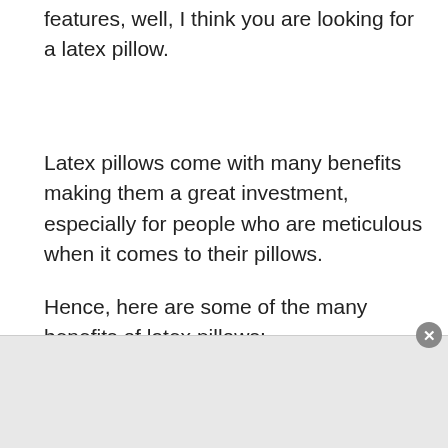features, well, I think you are looking for a latex pillow.
Latex pillows come with many benefits making them a great investment, especially for people who are meticulous when it comes to their pillows.
Hence, here are some of the many benefits of latex pillows:
Offers a Good Neck Support
Your pillow accounts for your overall quality sleeping, that is why your pillow needs to support